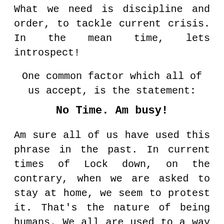What we need is discipline and order, to tackle current crisis. In the mean time, lets introspect!
One common factor which all of us accept, is the statement:
No Time. Am busy!
Am sure all of us have used this phrase in the past. In current times of Lock down, on the contrary, when we are asked to stay at home, we seem to protest it. That's the nature of being humans. We all are used to a way of life, and we get accustomed to it. Then we find it very difficult to change. But, Change – is the law of Nature, and Nothing is static in Universe, and this